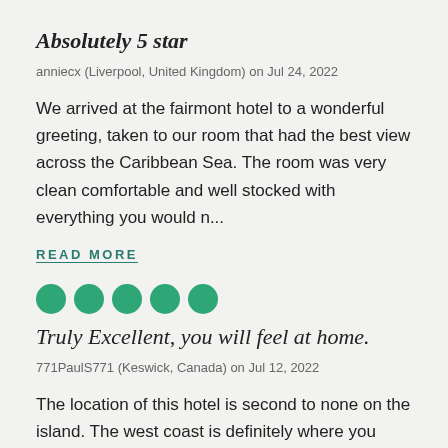Absolutely 5 star
anniecx (Liverpool, United Kingdom) on Jul 24, 2022
We arrived at the fairmont hotel to a wonderful greeting, taken to our room that had the best view across the Caribbean Sea. The room was very clean comfortable and well stocked with everything you would n...
READ MORE
[Figure (other): Five green filled circles representing a 5-bubble rating (TripAdvisor style)]
Truly Excellent, you will feel at home.
771PaulS771 (Keswick, Canada) on Jul 12, 2022
The location of this hotel is second to none on the island. The west coast is definitely where you want to be, you will see all the boat tours, catamaran sailings all end up right in front of this hotel. T...